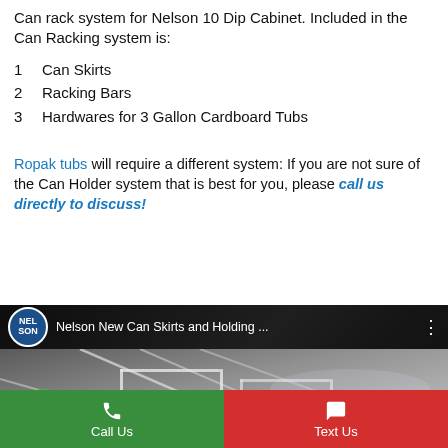Can rack system for Nelson 10 Dip Cabinet. Included in the Can Racking system is:
1  Can Skirts
2  Racking Bars
3  Hardwares for 3 Gallon Cardboard Tubs
Ropak tubs will require a different system: If you are not sure of the Can Holder system that is best for you, please call us directly to discuss!
[Figure (screenshot): YouTube-style video thumbnail showing metal can racking hardware with title 'Nelson New Can Skirts and Holding ...' and a Nelson channel avatar]
Call Us   Text Us